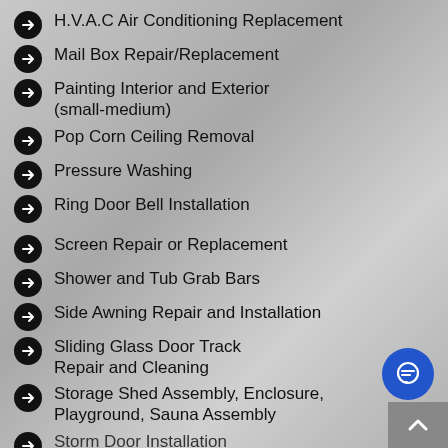H.V.A.C Air Conditioning Replacement
Mail Box Repair/Replacement
Painting Interior and Exterior (small-medium)
Pop Corn Ceiling Removal
Pressure Washing
Ring Door Bell Installation
Screen Repair or Replacement
Shower and Tub Grab Bars
Side Awning Repair and Installation
Sliding Glass Door Track Repair and Cleaning
Storage Shed Assembly, Enclosure, Playground, Sauna Assembly
Storm Door Installation